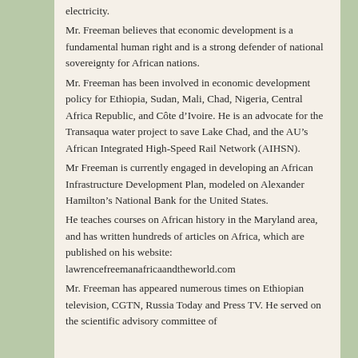electricity.
Mr. Freeman believes that economic development is a fundamental human right and is a strong defender of national sovereignty for African nations.
Mr. Freeman has been involved in economic development policy for Ethiopia, Sudan, Mali, Chad, Nigeria, Central Africa Republic, and Côte d'Ivoire. He is an advocate for the Transaqua water project to save Lake Chad, and the AU's African Integrated High-Speed Rail Network (AIHSN).
Mr Freeman is currently engaged in developing an African Infrastructure Development Plan, modeled on Alexander Hamilton's National Bank for the United States.
He teaches courses on African history in the Maryland area, and has written hundreds of articles on Africa, which are published on his website: lawrencefreemanafricaandtheworld.com
Mr. Freeman has appeared numerous times on Ethiopian television, CGTN, Russia Today and Press TV. He served on the scientific advisory committee of